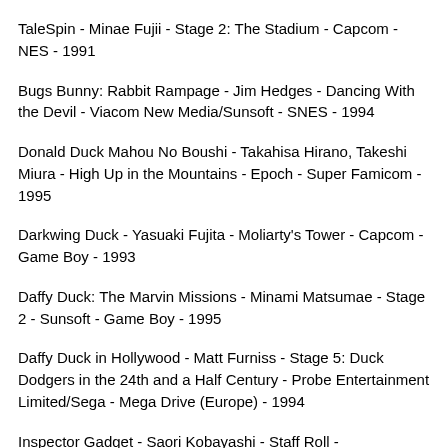TaleSpin - Minae Fujii - Stage 2: The Stadium - Capcom - NES - 1991
Bugs Bunny: Rabbit Rampage - Jim Hedges - Dancing With the Devil - Viacom New Media/Sunsoft - SNES - 1994
Donald Duck Mahou No Boushi - Takahisa Hirano, Takeshi Miura - High Up in the Mountains - Epoch - Super Famicom - 1995
Darkwing Duck - Yasuaki Fujita - Moliarty's Tower - Capcom - Game Boy - 1993
Daffy Duck: The Marvin Missions - Minami Matsumae - Stage 2 - Sunsoft - Game Boy - 1995
Daffy Duck in Hollywood - Matt Furniss - Stage 5: Duck Dodgers in the 24th and a Half Century - Probe Entertainment Limited/Sega - Mega Drive (Europe) - 1994
Inspector Gadget - Saori Kobayashi - Staff Roll -